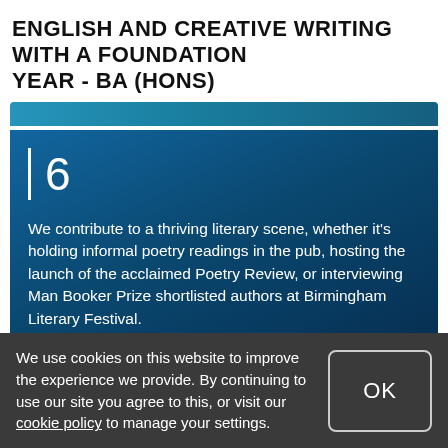ENGLISH AND CREATIVE WRITING WITH A FOUNDATION YEAR - BA (HONS)
6
We contribute to a thriving literary scene, whether it's holding informal poetry readings in the pub, hosting the launch of the acclaimed Poetry Review, or interviewing Man Booker Prize shortlisted authors at Birmingham Literary Festival.
We use cookies on this website to improve the experience we provide. By continuing to use our site you agree to this, or visit our cookie policy to manage your settings.